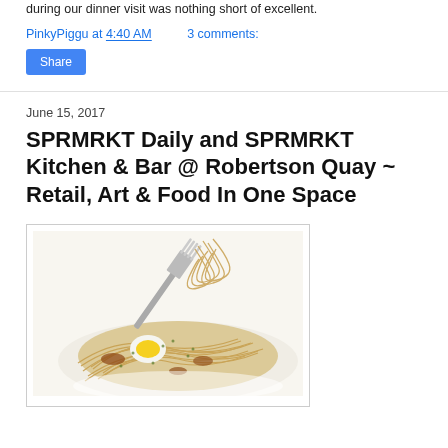during our dinner visit was nothing short of excellent.
PinkyPiggu at 4:40 AM    3 comments:
Share
June 15, 2017
SPRMRKT Daily and SPRMRKT Kitchen & Bar @ Robertson Quay ~ Retail, Art & Food In One Space
[Figure (photo): A plate of spaghetti carbonara with a soft-cooked egg on top, garnished with herbs, with a fork lifting a portion of the pasta above the plate.]